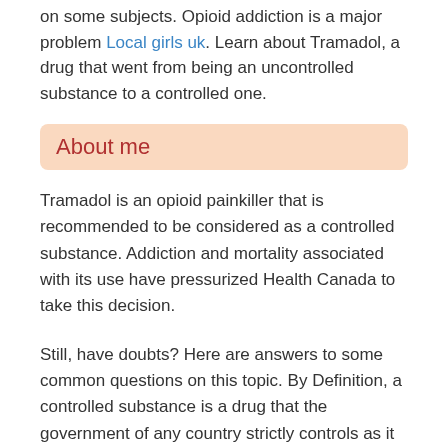on some subjects. Opioid addiction is a major problem Local girls uk. Learn about Tramadol, a drug that went from being an uncontrolled substance to a controlled one.
About me
Tramadol is an opioid painkiller that is recommended to be considered as a controlled substance. Addiction and mortality associated with its use have pressurized Health Canada to take this decision.
Still, have doubts? Here are answers to some common questions on this topic. By Definition, a controlled substance is a drug that the government of any country strictly controls as it may cause addiction or be abused.
Recent blog articles
The control applies to making, handling, using, distributing, and storing the substance. Some common controlled substances include stimulants, opioids, hallucinogens, depressants, and anabolic steroids.